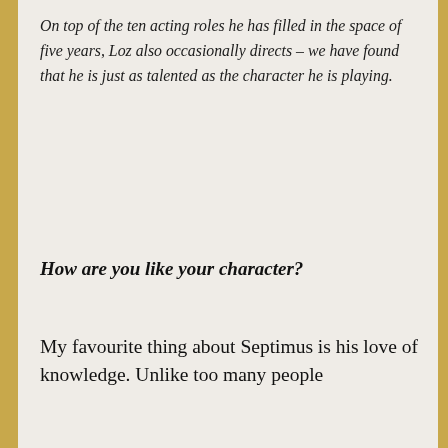On top of the ten acting roles he has filled in the space of five years, Loz also occasionally directs – we have found that he is just as talented as the character he is playing.
How are you like your character?
My favourite thing about Septimus is his love of knowledge. Unlike too many people
Privacy & Cookies: This site uses cookies. By continuing to use this website, you agree to their use.
To find out more, including how to control cookies, see here:
Cookie Policy
Close and accept
charming mind. But I know some things about some pretty niche subjects.